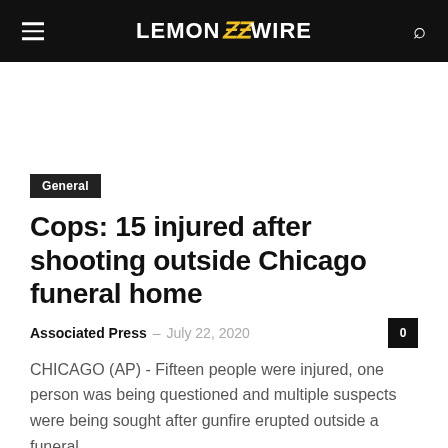LEMON ZZ WIRE
General
Cops: 15 injured after shooting outside Chicago funeral home
Associated Press – July 22, 2020
CHICAGO (AP) - Fifteen people were injured, one person was being questioned and multiple suspects were being sought after gunfire erupted outside a funeral...